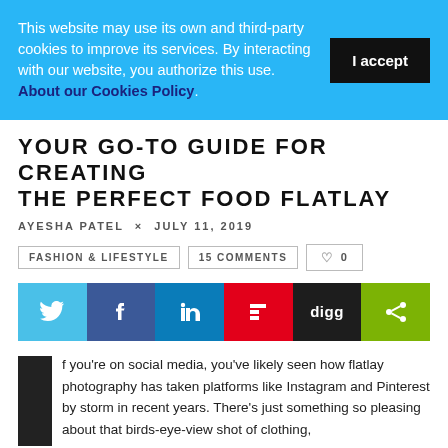This website may use its own and third-party cookies to improve its services. By interacting with our website, you authorize this use. About our Cookies Policy.
YOUR GO-TO GUIDE FOR CREATING THE PERFECT FOOD FLATLAY
AYESHA PATEL × JULY 11, 2019
FASHION & LIFESTYLE   15 COMMENTS   ♡ 0
[Figure (infographic): Social share buttons: Twitter (light blue), Facebook (dark blue), LinkedIn (blue), Flipboard (red), Digg (black), Share (green)]
f you're on social media, you've likely seen how flatlay photography has taken platforms like Instagram and Pinterest by storm in recent years. There's just something so pleasing about that birds-eye-view shot of clothing, travel essentials, and breakfast in bed. The latter is particularly aesthetically appealing because of the way that food can be so